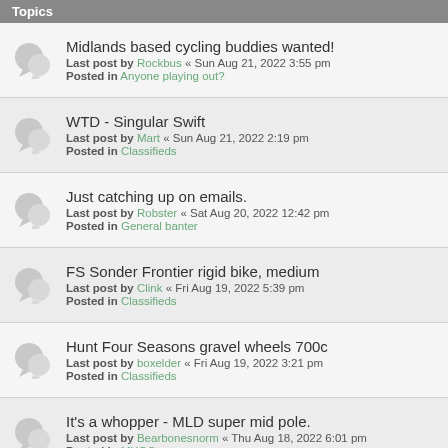Topics
Midlands based cycling buddies wanted!
Last post by Rockbus « Sun Aug 21, 2022 3:55 pm
Posted in Anyone playing out?
WTD - Singular Swift
Last post by Mart « Sun Aug 21, 2022 2:19 pm
Posted in Classifieds
Just catching up on emails.
Last post by Robster « Sat Aug 20, 2022 12:42 pm
Posted in General banter
FS Sonder Frontier rigid bike, medium
Last post by Clink « Fri Aug 19, 2022 5:39 pm
Posted in Classifieds
Hunt Four Seasons gravel wheels 700c
Last post by boxelder « Fri Aug 19, 2022 3:21 pm
Posted in Classifieds
It's a whopper - MLD super mid pole.
Last post by Bearbonesnorm « Thu Aug 18, 2022 6:01 pm
Posted in MYOG
Swap: Revelate Designs Sweetroll Medium for Large